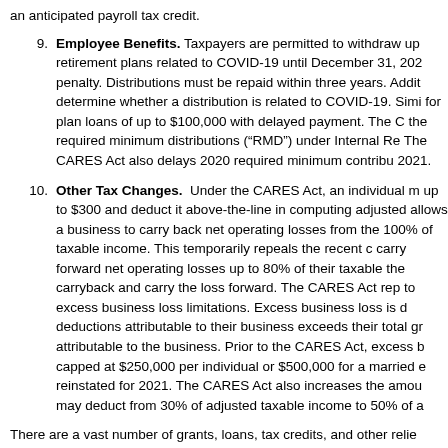an anticipated payroll tax credit.
9. Employee Benefits. Taxpayers are permitted to withdraw up retirement plans related to COVID-19 until December 31, 202 penalty. Distributions must be repaid within three years. Addit determine whether a distribution is related to COVID-19. Simi for plan loans of up to $100,000 with delayed payment. The C the required minimum distributions (“RMD”) under Internal Re The CARES Act also delays 2020 required minimum contribu 2021.
10. Other Tax Changes. Under the CARES Act, an individual m up to $300 and deduct it above-the-line in computing adjusted allows a business to carry back net operating losses from the 100% of taxable income. This temporarily repeals the recent c carry forward net operating losses up to 80% of their taxable the carryback and carry the loss forward. The CARES Act rep to excess business loss limitations. Excess business loss is d deductions attributable to their business exceeds their total gr attributable to the business. Prior to the CARES Act, excess b capped at $250,000 per individual or $500,000 for a married e reinstated for 2021. The CARES Act also increases the amou may deduct from 30% of adjusted taxable income to 50% of a
There are a vast number of grants, loans, tax credits, and other relie